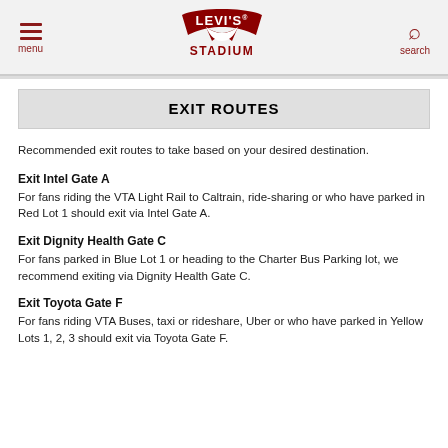Levi's Stadium — menu / search navigation header
EXIT ROUTES
Recommended exit routes to take based on your desired destination.
Exit Intel Gate A
For fans riding the VTA Light Rail to Caltrain, ride-sharing or who have parked in Red Lot 1 should exit via Intel Gate A.
Exit Dignity Health Gate C
For fans parked in Blue Lot 1 or heading to the Charter Bus Parking lot, we recommend exiting via Dignity Health Gate C.
Exit Toyota Gate F
For fans riding VTA Buses, taxi or rideshare, Uber or who have parked in Yellow Lots 1, 2, 3 should exit via Toyota Gate F.